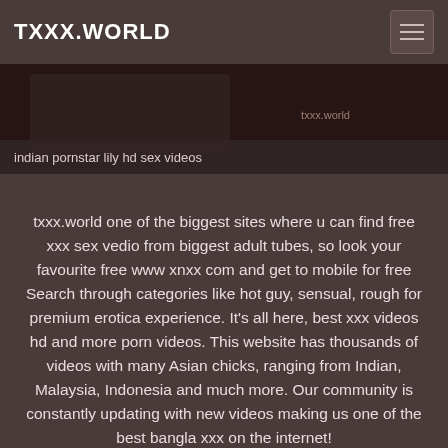TXXX.WORLD
indian pornstar lily hd sex videos
txxx.world one of the biggest sites where u can find free xxx sex vedio from biggest adult tubes, so look your favourite free www xnxx com and get to mobile for free Search through categories like hot guy, sensual, rough for premium erotica experience. It's all here, best xxx videos hd and more porn videos. This website has thousands of videos with many Asian chicks, ranging from Indian, Malaysia, Indonesia and much more. Our community is constantly updating with new videos making us one of the best bangla xxx on the internet!